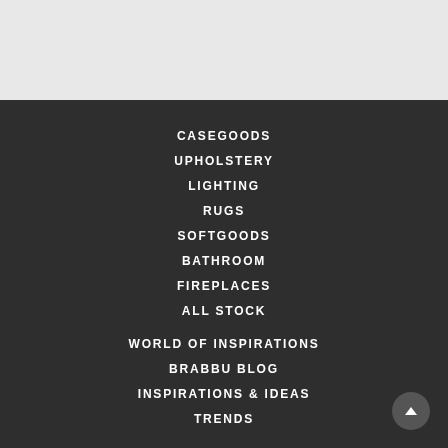[Figure (other): Light gray background area at top of page, likely image placeholder]
CASEGOODS
UPHOLSTERY
LIGHTING
RUGS
SOFTGOODS
BATHROOM
FIREPLACES
ALL STOCK
WORLD OF INSPIRATIONS
BRABBU BLOG
INSPIRATIONS & IDEAS
TRENDS